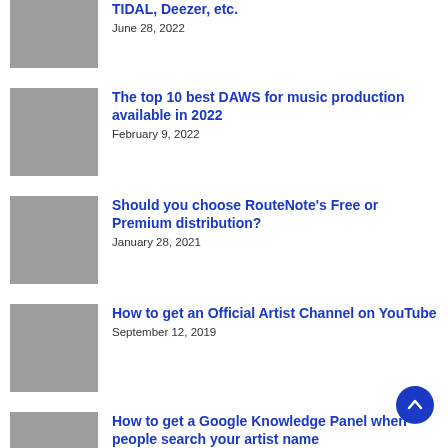TIDAL, Deezer, etc. | June 28, 2022
The top 10 best DAWS for music production available in 2022 | February 9, 2022
Should you choose RouteNote's Free or Premium distribution? | January 28, 2021
How to get an Official Artist Channel on YouTube | September 12, 2019
How to get a Google Knowledge Panel when people search your artist name | February 21, 2019